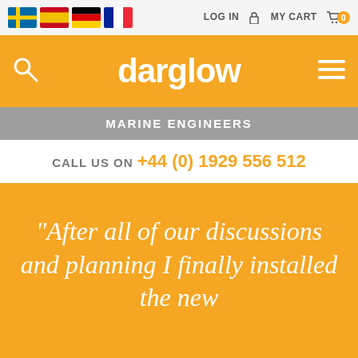[Figure (screenshot): Website screenshot of Darglow Marine Engineers with language flags (Swedish, Spanish, German, French), LOG IN and MY CART navigation, orange header with darglow logo, gray bar with MARINE ENGINEERS, white call bar with phone number, and orange section with testimonial quote.]
LOG IN  MY CART  0
darglow
MARINE ENGINEERS
CALL US ON +44 (0) 1929 556 512
“After all of our discussions and planning I finally installed the new